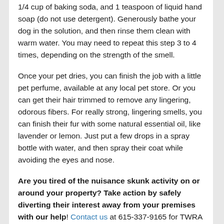1/4 cup of baking soda, and 1 teaspoon of liquid hand soap (do not use detergent). Generously bathe your dog in the solution, and then rinse them clean with warm water. You may need to repeat this step 3 to 4 times, depending on the strength of the smell.
Once your pet dries, you can finish the job with a little pet perfume, available at any local pet store. Or you can get their hair trimmed to remove any lingering, odorous fibers. For really strong, lingering smells, you can finish their fur with some natural essential oil, like lavender or lemon. Just put a few drops in a spray bottle with water, and then spray their coat while avoiding the eyes and nose.
Are you tired of the nuisance skunk activity on or around your property? Take action by safely diverting their interest away from your premises with our help! Contact us at 615-337-9165 for TWRA licensed and insured Nashville, TN